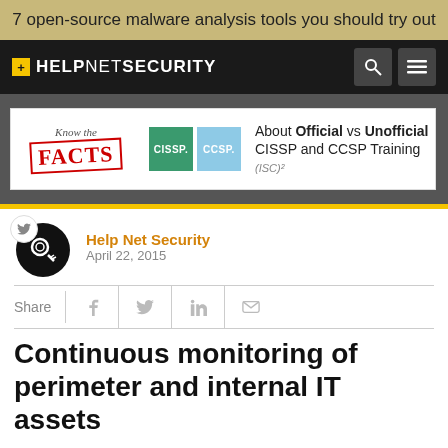7 open-source malware analysis tools you should try out
[Figure (logo): Help Net Security logo with yellow plus sign on black navigation bar, search and menu icons]
[Figure (screenshot): Advertisement banner: Know the FACTS about Official vs Unofficial CISSP and CCSP Training with ISC2 logo]
Help Net Security
April 22, 2015
Share
Continuous monitoring of perimeter and internal IT assets
At RSA Conference 2015, Qualys announced that its popular Qualys Continuous Monitoring (CM) solution for